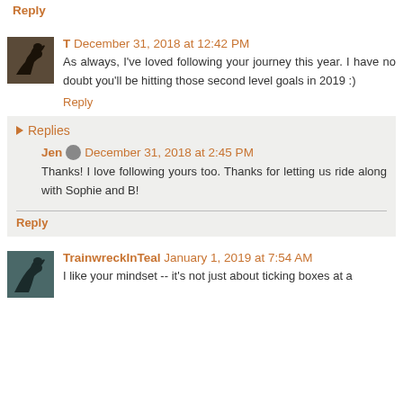Reply
T December 31, 2018 at 12:42 PM
As always, I've loved following your journey this year. I have no doubt you'll be hitting those second level goals in 2019 :)
Reply
Replies
Jen December 31, 2018 at 2:45 PM
Thanks! I love following yours too. Thanks for letting us ride along with Sophie and B!
Reply
TrainwreckInTeal January 1, 2019 at 7:54 AM
I like your mindset -- it's not just about ticking boxes at a